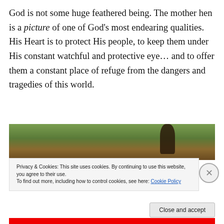God is not some huge feathered being. The mother hen is a picture of one of God’s most endearing qualities. His Heart is to protect His people, to keep them under His constant watchful and protective eye… and to offer them a constant place of refuge from the dangers and tragedies of this world.
[Figure (photo): Partial photo of a hen/bird on green grass background, partially obscured by cookie consent banner]
Privacy & Cookies: This site uses cookies. By continuing to use this website, you agree to their use.
To find out more, including how to control cookies, see here: Cookie Policy
Close and accept